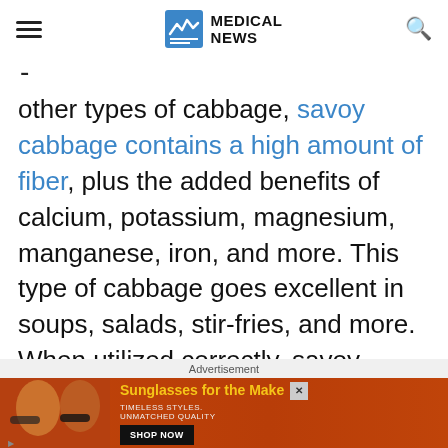MEDICAL NEWS
other types of cabbage, savoy cabbage contains a high amount of fiber, plus the added benefits of calcium, potassium, magnesium, manganese, iron, and more. This type of cabbage goes excellent in soups, salads, stir-fries, and more. When utilized correctly, savoy cabbage may even change your thoughts on cabbage.
Advertisement
[Figure (photo): Advertisement banner showing two women wearing sunglasses with text 'Sunglasses for the Make, TIMELESS STYLES. UNMATCHED QUALITY, SHOP NOW']